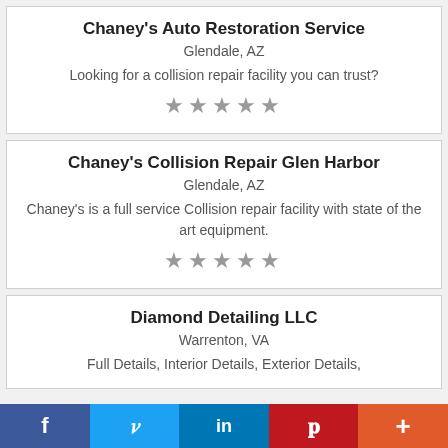Chaney's Auto Restoration Service
Glendale, AZ
Looking for a collision repair facility you can trust?
[Figure (other): Five gray star rating icons]
Chaney's Collision Repair Glen Harbor
Glendale, AZ
Chaney's is a full service Collision repair facility with state of the art equipment.
[Figure (other): Five gray star rating icons]
Diamond Detailing LLC
Warrenton, VA
Full Details, Interior Details, Exterior Details,
f  Twitter  in  Pinterest  +